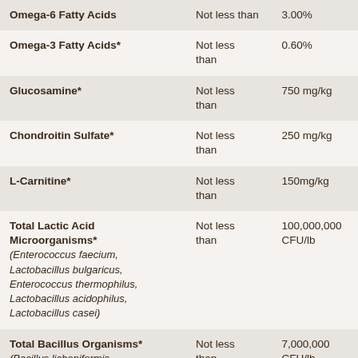| Nutrient | Guarantee Type | Amount |
| --- | --- | --- |
| Omega-6 Fatty Acids | Not less than | 3.00% |
| Omega-3 Fatty Acids* | Not less than | 0.60% |
| Glucosamine* | Not less than | 750 mg/kg |
| Chondroitin Sulfate* | Not less than | 250 mg/kg |
| L-Carnitine* | Not less than | 150mg/kg |
| Total Lactic Acid Microorganisms* (Enterococcus faecium, Lactobacillus bulgaricus, Enterococcus thermophilus, Lactobacillus acidophilus, Lactobacillus casei) | Not less than | 100,000,000 CFU/lb |
| Total Bacillus Organisms* (Bacillus licheniformis, Bacillus subtilis) | Not less than | 7,000,000 CFU/lb |
| Protease* (Aspergillus oryzae, Trichoderma reesei, and Rhizo...) | Not less than | 280 HUT/lb |